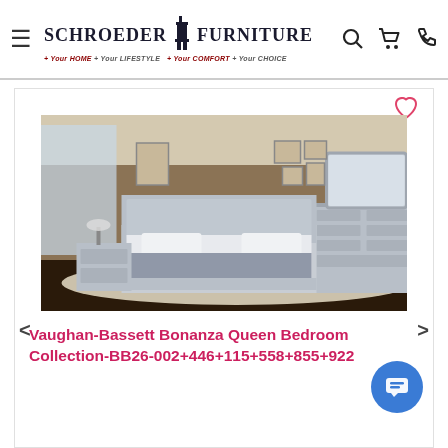Schroeder Furniture · Your HOME · Your LIFESTYLE · Your COMFORT · Your CHOICE
[Figure (photo): Bedroom furniture set photo showing a grey queen bed with panel headboard, two nightstands, a chest, and a large dresser with mirror, staged in a room with brown walls and dark hardwood floors.]
Vaughan-Bassett Bonanza Queen Bedroom Collection-BB26-002+446+115+558+855+922